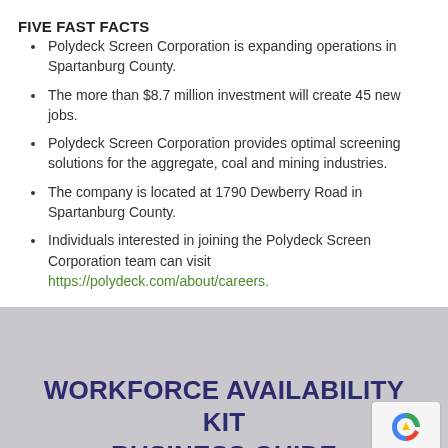FIVE FAST FACTS
Polydeck Screen Corporation is expanding operations in Spartanburg County.
The more than $8.7 million investment will create 45 new jobs.
Polydeck Screen Corporation provides optimal screening solutions for the aggregate, coal and mining industries.
The company is located at 1790 Dewberry Road in Spartanburg County.
Individuals interested in joining the Polydeck Screen Corporation team can visit https://polydeck.com/about/careers.
WORKFORCE AVAILABILITY KIT BUSINESS GUIDE